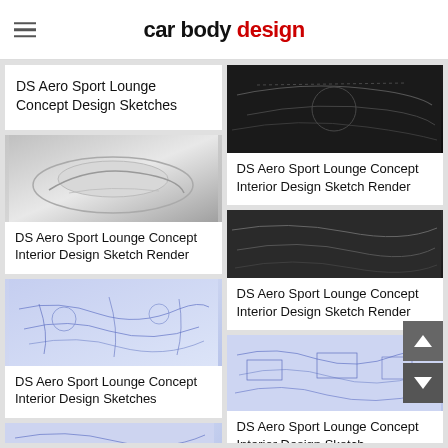car body design
DS Aero Sport Lounge Concept Design Sketches
[Figure (illustration): DS Aero Sport Lounge Concept Interior silver render sketch]
DS Aero Sport Lounge Concept Interior Design Sketch Render
[Figure (illustration): DS Aero Sport Lounge Concept Interior blue pen sketches]
DS Aero Sport Lounge Concept Interior Design Sketches
[Figure (illustration): DS Aero Sport Lounge partial bottom sketch]
[Figure (illustration): DS Aero Sport Lounge Concept dark render]
DS Aero Sport Lounge Concept Interior Design Sketch Render
[Figure (illustration): DS Aero Sport Lounge Concept dark interior render]
DS Aero Sport Lounge Concept Interior Design Sketch Render
[Figure (illustration): DS Aero Sport Lounge Concept interior blue sketch render]
DS Aero Sport Lounge Concept Interior Design Sketch